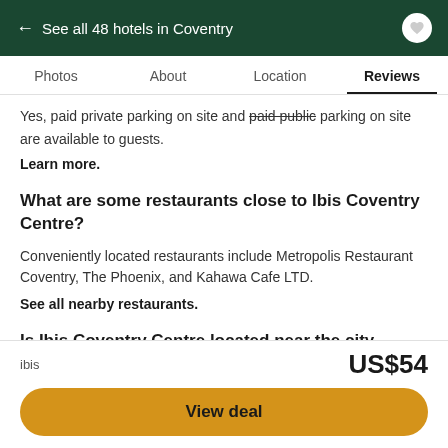← See all 48 hotels in Coventry
Reviews
Yes, paid private parking on site and paid public parking on site are available to guests.
Learn more.
What are some restaurants close to Ibis Coventry Centre?
Conveniently located restaurants include Metropolis Restaurant Coventry, The Phoenix, and Kahawa Cafe LTD.
See all nearby restaurants.
Is Ibis Coventry Centre located near the city centre?
Yes, it is 0.6 km away from the centre of Coventry.
See all nearby attractions.
ibis
US$54
View deal